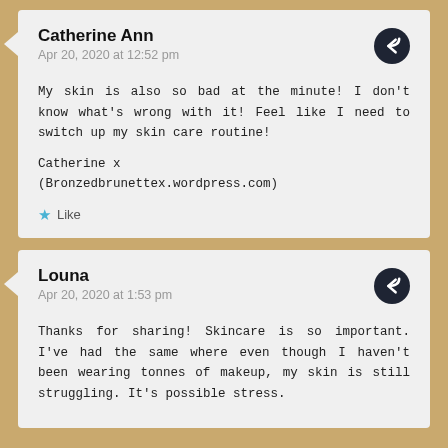Catherine Ann
Apr 20, 2020 at 12:52 pm
My skin is also so bad at the minute! I don't know what's wrong with it! Feel like I need to switch up my skin care routine!
Catherine x
(Bronzedbrunettex.wordpress.com)
Like
Louna
Apr 20, 2020 at 1:53 pm
Thanks for sharing! Skincare is so important. I've had the same where even though I haven't been wearing tonnes of makeup, my skin is still struggling. It's possible stress.